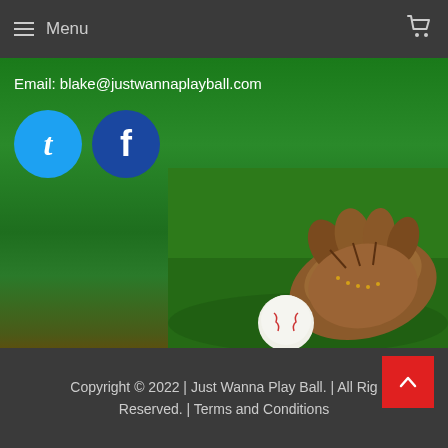Menu
Email: blake@justwannaplayball.com
[Figure (illustration): Twitter and Facebook social media circular icons - Twitter icon is light blue circle with white 't', Facebook icon is dark blue circle with white 'f']
[Figure (photo): Baseball glove (mitt) catching a white baseball on a green grass field background]
Copyright © 2022 | Just Wanna Play Ball. | All Rights Reserved. | Terms and Conditions